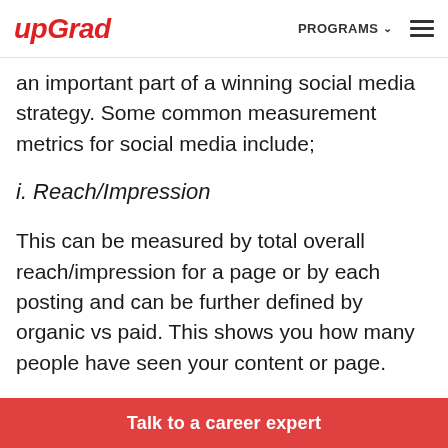upGrad  PROGRAMS ☰
an important part of a winning social media strategy. Some common measurement metrics for social media include;
i. Reach/Impression
This can be measured by total overall reach/impression for a page or by each posting and can be further defined by organic vs paid. This shows you how many people have seen your content or page.
Talk to a career expert